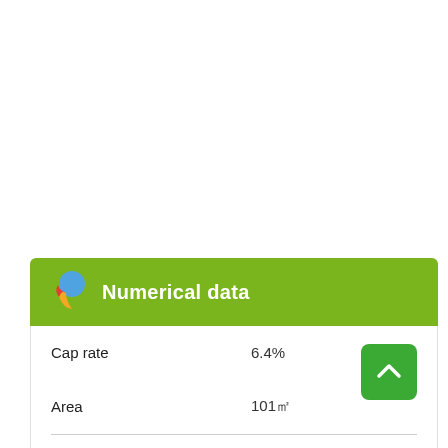Numerical data
|  |  |
| --- | --- |
| Cap rate | 6.4% |
| Area | 101㎡ |
| Gross yield | 8.8% |
| Base bid price | - |